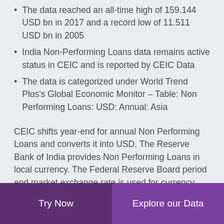The data reached an all-time high of 159.144 USD bn in 2017 and a record low of 11.511 USD bn in 2005
India Non-Performing Loans data remains active status in CEIC and is reported by CEIC Data
The data is categorized under World Trend Plus's Global Economic Monitor – Table: Non Performing Loans: USD: Annual: Asia
CEIC shifts year-end for annual Non Performing Loans and converts it into USD. The Reserve Bank of India provides Non Performing Loans in local currency. The Federal Reserve Board period end market exchange rate is used for currency conversions. Non Performing Loans is reported in annual frequency, ending in March of each year.
Try Now | Explore our Data